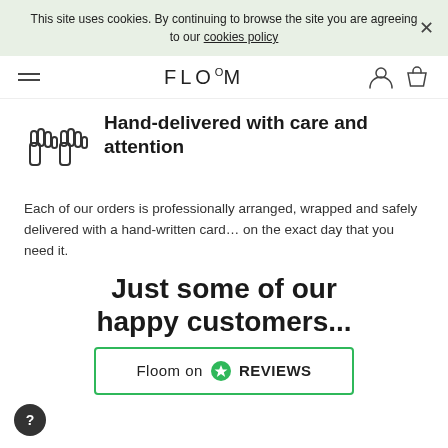This site uses cookies. By continuing to browse the site you are agreeing to our cookies policy
FLOOM
Hand-delivered with care and attention
Each of our orders is professionally arranged, wrapped and safely delivered with a hand-written card... on the exact day that you need it.
Just some of our happy customers...
[Figure (logo): Floom on Reviews.io badge with green star icon]